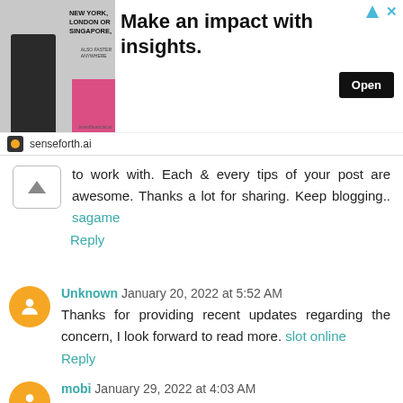[Figure (other): Advertisement banner for senseforth.ai with headline 'Make an impact with insights.' and Open button]
to work with. Each & every tips of your post are awesome. Thanks a lot for sharing. Keep blogging.. sagame
Reply
Unknown January 20, 2022 at 5:52 AM
Thanks for providing recent updates regarding the concern, I look forward to read more. slot online
Reply
mobi January 29, 2022 at 4:03 AM